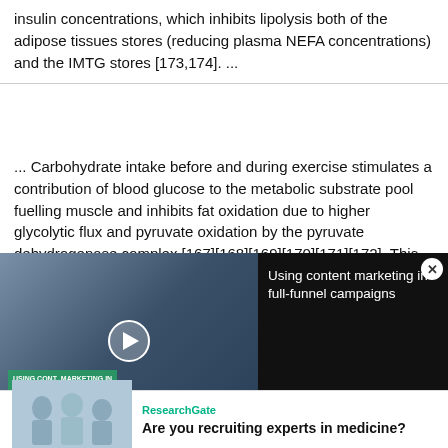insulin concentrations, which inhibits lipolysis both of the adipose tissues stores (reducing plasma NEFA concentrations) and the IMTG stores [173,174]. ...
... Carbohydrate intake before and during exercise stimulates a contribution of blood glucose to the metabolic substrate pool fuelling muscle and inhibits fat oxidation due to higher glycolytic flux and pyruvate oxidation by the pyruvate dehydrogenase complex [167][168][169][170][171][172]. This leads to attenuated lipid utilisation during exercise [10, 168] , mainly via higher insulin concentrations, which inhibits lipolysis both of the adipose tissues stores (reducing plasma NEFA
[Figure (screenshot): Video ad overlay showing 'Using content marketing in full-funnel campaigns' with a video panel on the left showing people in an office with a play button, and text on a black background on the right with a close button.]
[Figure (screenshot): ResearchGate advertisement banner at the bottom: 'Are you recruiting experts in medicine?' with an image of researchers/scientists on the left.]